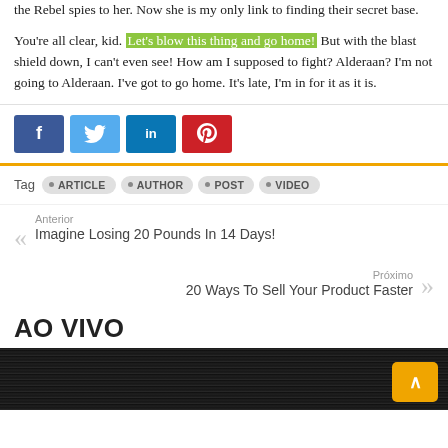the Rebel spies to her. Now she is my only link to finding their secret base.
You're all clear, kid. Let's blow this thing and go home! But with the blast shield down, I can't even see! How am I supposed to fight? Alderaan? I'm not going to Alderaan. I've got to go home. It's late, I'm in for it as it is.
Social share buttons: Facebook, Twitter, LinkedIn, Pinterest
Tag  ARTICLE  AUTHOR  POST  VIDEO
Anterior
Imagine Losing 20 Pounds In 14 Days!
Próximo
20 Ways To Sell Your Product Faster
AO VIVO
[Figure (photo): Dark textured image bar at bottom of page with orange scroll-to-top button]